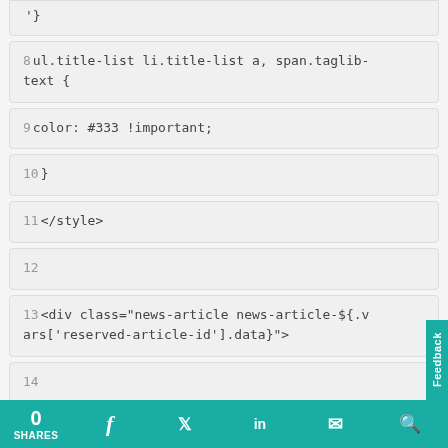'}
8ul.title-list li.title-list a, span.taglib-text {
9color: #333 !important;
10}
11</style>
12
13<div class="news-article news-article-${.vars['reserved-article-id'].data}">
14...
0 SHARES  f  t  in  mail  search  Feedback